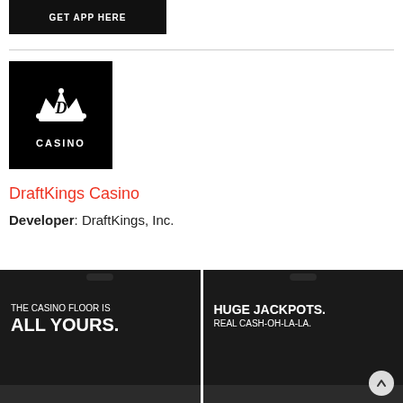[Figure (screenshot): Black button with white bold uppercase text 'GET APP HERE']
[Figure (logo): DraftKings Casino logo: black square with white crown and stylized D, and 'CASINO' text below]
DraftKings Casino
Developer: DraftKings, Inc.
[Figure (screenshot): Dark casino app screenshot with text 'THE CASINO FLOOR IS ALL YOURS.']
[Figure (screenshot): Dark casino app screenshot with text 'HUGE JACKPOTS. REAL CASH-OH-LA-LA.']